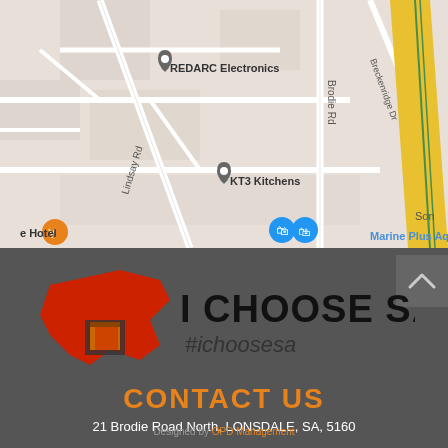[Figure (map): Google Maps screenshot showing Lonsdale, SA area with REDARC Electronics, KT3 Kitchens, Marine Plus Aquariums, and nearby roads including Lindsay Rd, Brodie Rd, Breckenridge Dr, Mirrimar Cr.]
[Figure (logo): I CHOOSE SA logo with red Australia-shaped icon containing a door symbol, bold text 'I CHOOSE SA' with registered trademark, and italic hashtag '#ichoosesa']
CONTACT US
21 Brodie Road North, LONSDALE, SA, 5160
Designed by OPD Management